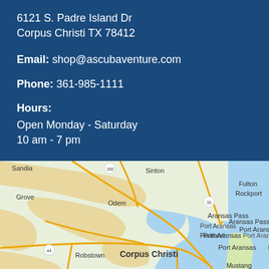6121 S. Padre Island Dr
Corpus Christi TX 78412
Email: shop@ascubaventure.com
Phone: 361-985-1111
Hours:
Open Monday - Saturday
10 am - 7 pm
[Figure (map): Google Maps view of the Corpus Christi, Texas area showing surrounding cities including Sinton, Odem, Portland, Aransas Pass, Port Aransas, Robstown, Driscoll, Bishop, Kingsville, and Padre Island National Seashore. Road networks including highways 188, 35, 44, 77, 358, 286 are shown. The coastline and Mustang Island are visible on the right side.]